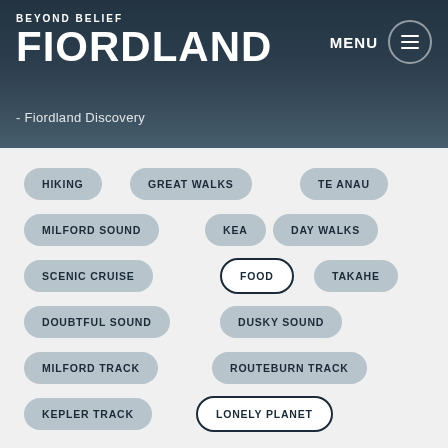[Figure (screenshot): Website header banner for Beyond Belief Fiordland with a dark blue-grey background showing water/scenery, logo on left, MENU text and hamburger icon on right]
BEYOND BELIEF FIORDLAND
Fiordland Discovery
HIKING
GREAT WALKS
TE ANAU
MILFORD SOUND
KEA
DAY WALKS
SCENIC CRUISE
FOOD
TAKAHE
DOUBTFUL SOUND
DUSKY SOUND
MILFORD TRACK
ROUTEBURN TRACK
KEPLER TRACK
LONELY PLANET